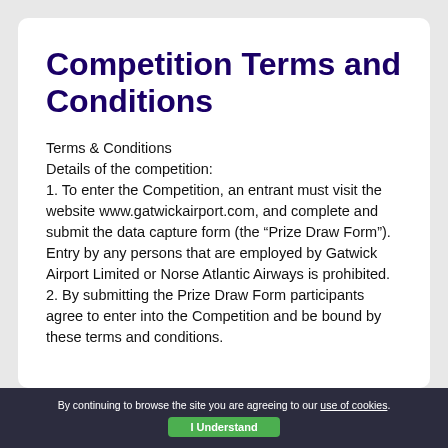Competition Terms and Conditions
Terms & Conditions
Details of the competition:
1. To enter the Competition, an entrant must visit the website www.gatwickairport.com, and complete and submit the data capture form (the “Prize Draw Form”). Entry by any persons that are employed by Gatwick Airport Limited or Norse Atlantic Airways is prohibited.
2. By submitting the Prize Draw Form participants agree to enter into the Competition and be bound by these terms and conditions.
By continuing to browse the site you are agreeing to our use of cookies. I Understand